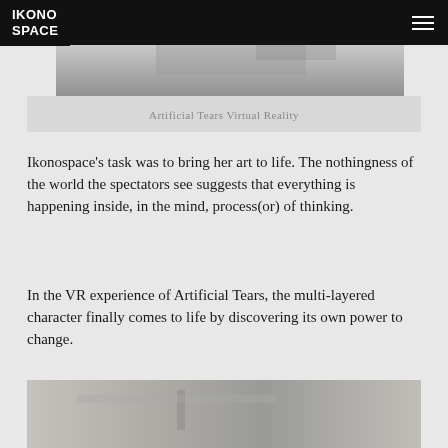IKONO SPACE
[Figure (photo): Top portion of a VR/interior photograph showing a grey minimal space]
Artificial Tears Virtual Reality
Ikonospace's task was to bring her art to life. The nothingness of the world the spectators see suggests that everything is happening inside, in the mind, process(or) of thinking.
In the VR experience of Artificial Tears, the multi-layered character finally comes to life by discovering its own power to change.
[Figure (photo): Bottom portion of a photograph showing an interior space with concrete walls and metallic elements]